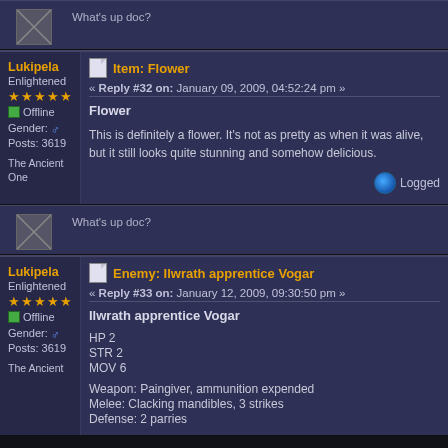What's up doc?
Lukipela
Enlightened
★★★★★
Offline
Gender: ♂
Posts: 3619
Item: Flower
« Reply #32 on: January 09, 2009, 04:52:24 pm »
Flower
This is definitely a flower. It's not as pretty as when it was alive, but it still looks quite stunning and somehow delicious.
The Ancient One
Logged
What's up doc?
Lukipela
Enlightened
★★★★★
Offline
Gender: ♂
Posts: 3619
Enemy: Ilwrath apprentice Vogar
« Reply #33 on: January 12, 2009, 09:30:50 pm »
Ilwrath apprentice Vogar
HP 2
STR 2
MOV 6
Weapon: Paingiver, ammunition expended
Melee: Clacking mandibles, 3 strikes
Defense: 2 parries
The Ancient